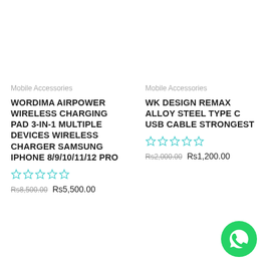Mobile Accessories
WORDIMA AIRPOWER WIRELESS CHARGING PAD 3-IN-1 MULTIPLE DEVICES WIRELESS CHARGER SAMSUNG IPHONE 8/9/10/11/12 PRO
☆☆☆☆☆ (0 stars)
Rs8,500.00  Rs5,500.00
Mobile Accessories
WK DESIGN REMAX ALLOY STEEL TYPE C USB CABLE STRONGEST
☆☆☆☆☆ (0 stars)
Rs2,000.00  Rs1,200.00
[Figure (logo): WhatsApp icon - green circle with white phone/chat symbol]